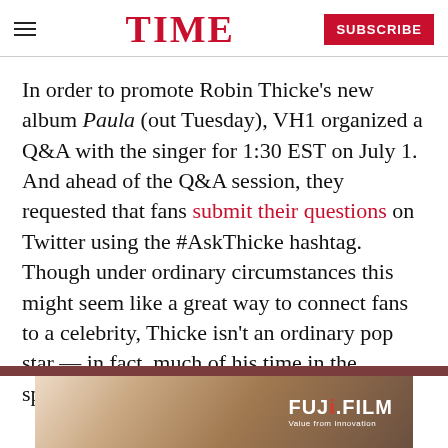TIME | SUBSCRIBE
In order to promote Robin Thicke's new album Paula (out Tuesday), VH1 organized a Q&A with the singer for 1:30 EST on July 1. And ahead of the Q&A session, they requested that fans submit their questions on Twitter using the #AskThicke hashtag. Though under ordinary circumstances this might seem like a great way to connect fans to a celebrity, Thicke isn't an ordinary pop star — in fact, much of his time in the spotlight has been mired with controversy.
[Figure (other): FUJIFILM advertisement banner with tagline 'Value from Innovation' against a warm beige/brown gradient background]